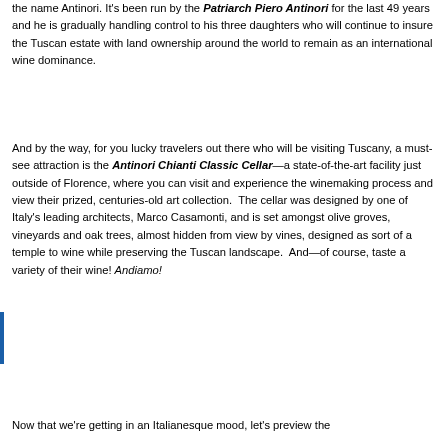the name Antinori. It's been run by the Patriarch Piero Antinori for the last 49 years and he is gradually handling control to his three daughters who will continue to insure the Tuscan estate with land ownership around the world to remain as an international wine dominance.
And by the way, for you lucky travelers out there who will be visiting Tuscany, a must-see attraction is the Antinori Chianti Classic Cellar—a state-of-the-art facility just outside of Florence, where you can visit and experience the winemaking process and view their prized, centuries-old art collection. The cellar was designed by one of Italy's leading architects, Marco Casamonti, and is set amongst olive groves, vineyards and oak trees, almost hidden from view by vines, designed as sort of a temple to wine while preserving the Tuscan landscape. And—of course, taste a variety of their wine! Andiamo!
Now that we're getting in an Italianesque mood, let's preview the